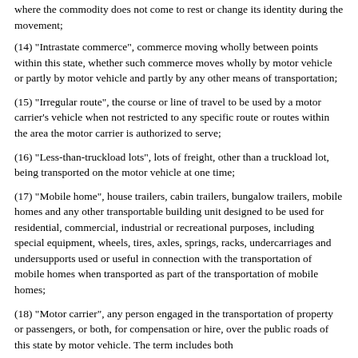where the commodity does not come to rest or change its identity during the movement;
(14) "Intrastate commerce", commerce moving wholly between points within this state, whether such commerce moves wholly by motor vehicle or partly by motor vehicle and partly by any other means of transportation;
(15) "Irregular route", the course or line of travel to be used by a motor carrier's vehicle when not restricted to any specific route or routes within the area the motor carrier is authorized to serve;
(16) "Less-than-truckload lots", lots of freight, other than a truckload lot, being transported on the motor vehicle at one time;
(17) "Mobile home", house trailers, cabin trailers, bungalow trailers, mobile homes and any other transportable building unit designed to be used for residential, commercial, industrial or recreational purposes, including special equipment, wheels, tires, axles, springs, racks, undercarriages and undersupports used or useful in connection with the transportation of mobile homes when transported as part of the transportation of mobile homes;
(18) "Motor carrier", any person engaged in the transportation of property or passengers, or both, for compensation or hire, over the public roads of this state by motor vehicle. The term includes both